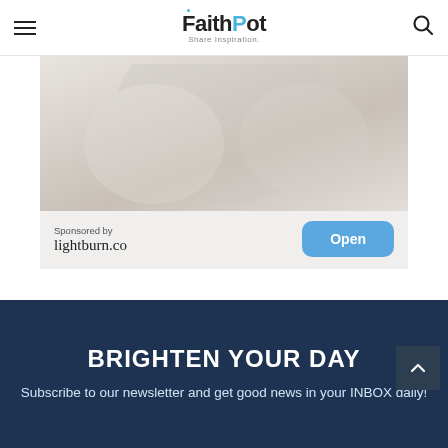FaithPot — Share Inspiration.
[Figure (other): Advertisement banner showing a light background with abstract shapes. Sponsored by lightburn.co with an Open button.]
BRIGHTEN YOUR DAY
Subscribe to our newsletter and get good news in your INBOX daily!